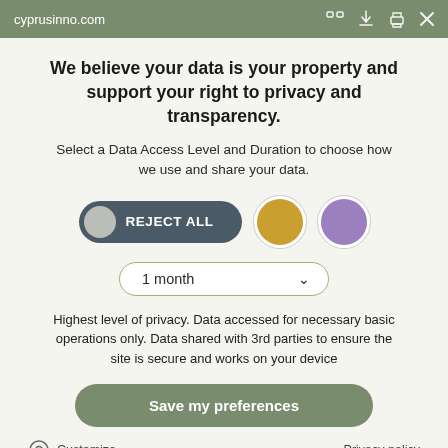cyprusinno.com
We believe your data is your property and support your right to privacy and transparency.
Select a Data Access Level and Duration to choose how we use and share your data.
[Figure (infographic): Toggle UI with REJECT ALL pill button in dark grey-blue, a gold circle button, and a purple circle button]
[Figure (infographic): Dropdown selector showing '1 month' with a down chevron, styled with gold-tan border and rounded pill shape]
Highest level of privacy. Data accessed for necessary basic operations only. Data shared with 3rd parties to ensure the site is secure and works on your device
Save my preferences
Customize
Privacy policy